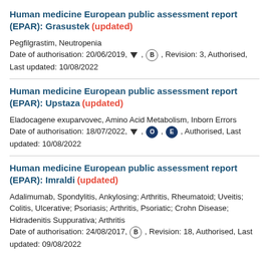Human medicine European public assessment report (EPAR): Grasustek (updated)
Pegfilgrastim, Neutropenia
Date of authorisation: 20/06/2019, ▼, B, Revision: 3, Authorised, Last updated: 10/08/2022
Human medicine European public assessment report (EPAR): Upstaza (updated)
Eladocagene exuparvovec, Amino Acid Metabolism, Inborn Errors
Date of authorisation: 18/07/2022, ▼, O, E, Authorised, Last updated: 10/08/2022
Human medicine European public assessment report (EPAR): Imraldi (updated)
Adalimumab, Spondylitis, Ankylosing; Arthritis, Rheumatoid; Uveitis; Colitis, Ulcerative; Psoriasis; Arthritis, Psoriatic; Crohn Disease; Hidradenitis Suppurativa; Arthritis
Date of authorisation: 24/08/2017, B, Revision: 18, Authorised, Last updated: 09/08/2022